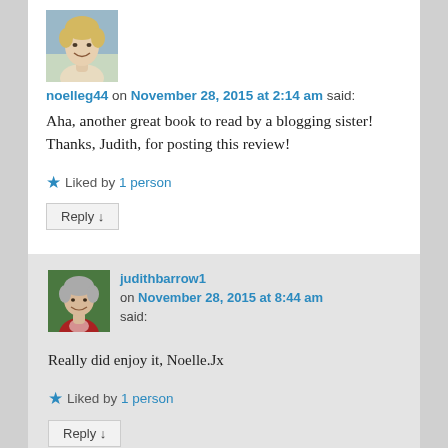[Figure (photo): Small circular/square avatar photo of an older woman with short blonde hair, smiling, wearing a light-colored top.]
noelleg44 on November 28, 2015 at 2:14 am said:
Aha, another great book to read by a blogging sister! Thanks, Judith, for posting this review!
★ Liked by 1 person
Reply ↓
[Figure (photo): Small square avatar photo of a woman with short grey hair wearing a red top with decorative white detail.]
judithbarrow1 on November 28, 2015 at 8:44 am said:
Really did enjoy it, Noelle.Jx
★ Liked by 1 person
Reply ↓